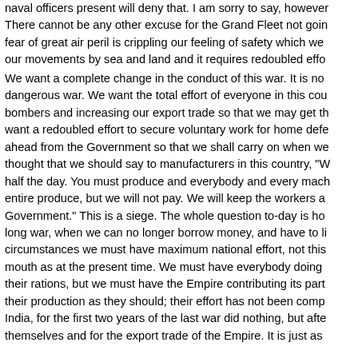naval officers present will deny that. I am sorry to say, however, there cannot be any other excuse for the Grand Fleet not going out. The fear of great air peril is crippling our feeling of safety which we need for our movements by sea and land and it requires redoubled effort.
We want a complete change in the conduct of this war. It is no longer a dangerous war. We want the total effort of everyone in this country, bombers and increasing our export trade so that we may get the means; we want a redoubled effort to secure voluntary work for home defence; we look ahead from the Government so that we shall carry on when we have to. I thought that we should say to manufacturers in this country, "Work at least half the day. You must produce and everybody and every machine for the entire produce, but we will not pay. We will keep the workers at cost to the Government." This is a siege. The whole question to-day is how to fight a long war, when we can no longer borrow money, and have to live. In these circumstances we must have maximum national effort, not this living from mouth to mouth as at the present time. We must have everybody doing their part, their rations, but we must have the Empire contributing its part and increasing their production as they should; their effort has not been comparable to ours. India, for the first two years of the last war did nothing, but after that grew themselves and for the export trade of the Empire. It is just as